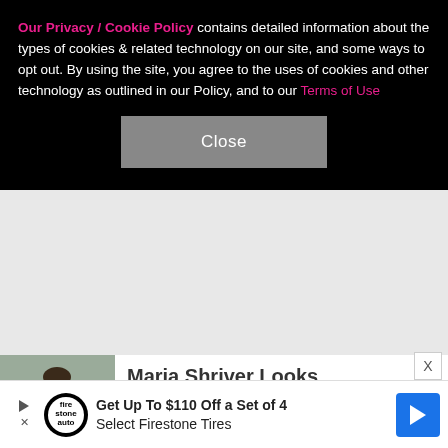Our Privacy / Cookie Policy contains detailed information about the types of cookies & related technology on our site, and some ways to opt out. By using the site, you agree to the uses of cookies and other technology as outlined in our Policy, and to our Terms of Use
Close
[Figure (photo): Thumbnail photo of a person wearing a white t-shirt with a brown crossbody bag, photographed outdoors]
Maria Shriver Looks Unrecognizable While Visiting Her New Home
[Figure (infographic): Advertisement banner: Get Up To $110 Off a Set of 4 Select Firestone Tires with Firestone auto logo and blue arrow icon]